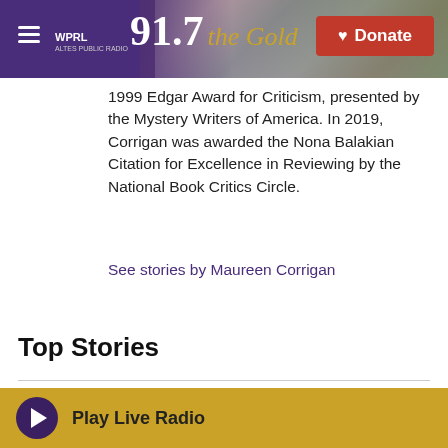WPRL 91.7 The Gold | Donate
1999 Edgar Award for Criticism, presented by the Mystery Writers of America. In 2019, Corrigan was awarded the Nona Balakian Citation for Excellence in Reviewing by the National Book Critics Circle.
See stories by Maureen Corrigan
Top Stories
Trump asks for a 'special master' to review Mar-a-Lago evidence
Play Live Radio